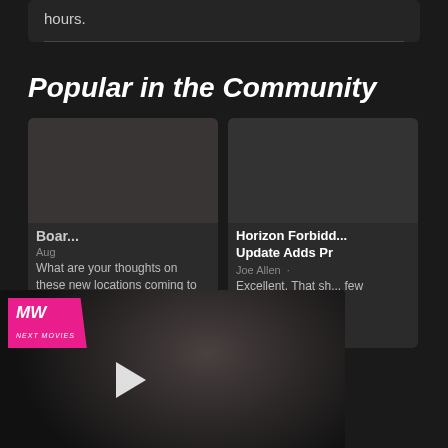hours.
Popular in the Community
Boar...
Aug
What are your thoughts on these new locations coming to The...
[Figure (screenshot): MW (MetaWin) video overlay with pink logo, play button, and text 'EMBRACER GROUP BUY LOTR RIGHTS' over a dark moody background image]
Horizon Forbidd... Update Adds Pr
Joe Allen
Excellent. That sh... few homophobes